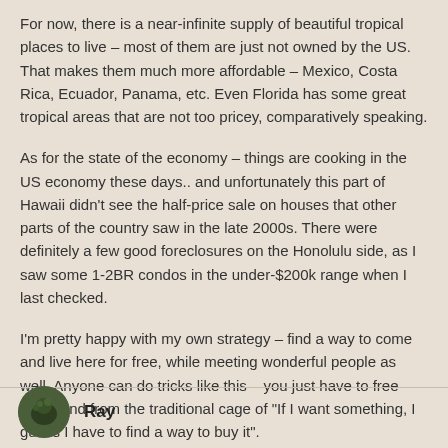For now, there is a near-infinite supply of beautiful tropical places to live – most of them are just not owned by the US. That makes them much more affordable – Mexico, Costa Rica, Ecuador, Panama, etc. Even Florida has some great tropical areas that are not too pricey, comparatively speaking.
As for the state of the economy – things are cooking in the US economy these days.. and unfortunately this part of Hawaii didn't see the half-price sale on houses that other parts of the country saw in the late 2000s. There were definitely a few good foreclosures on the Honolulu side, as I saw some 1-2BR condos in the under-$200k range when I last checked.
I'm pretty happy with my own strategy – find a way to come and live here for free, while meeting wonderful people as well. Anyone can do tricks like this – you just have to free your mind from the traditional cage of "If I want something, I guess I have to find a way to buy it".
Reply
Ray